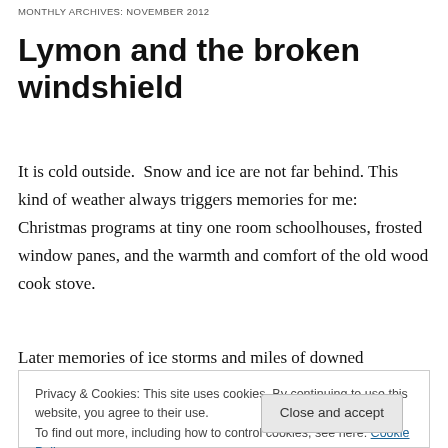MONTHLY ARCHIVES: NOVEMBER 2012
Lymon and the broken windshield
It is cold outside.  Snow and ice are not far behind. This kind of weather always triggers memories for me: Christmas programs at tiny one room schoolhouses, frosted window panes, and the warmth and comfort of the old wood cook stove.
Later memories of ice storms and miles of downed
remember an old timer named Lymon.  I was
Privacy & Cookies: This site uses cookies. By continuing to use this website, you agree to their use.
To find out more, including how to control cookies, see here: Cookie Policy

Close and accept